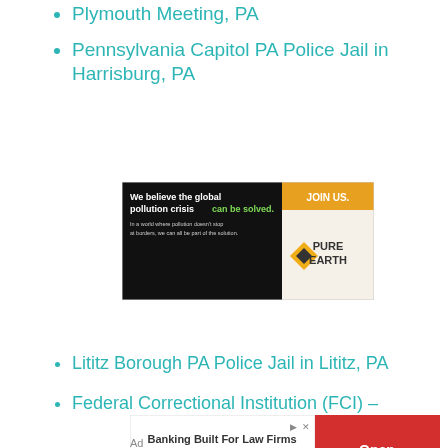Plymouth Meeting, PA
Pennsylvania Capitol PA Police Jail in Harrisburg, PA
[Figure (other): Pure Earth advertisement banner: 'We believe the global pollution crisis can be solved. JOIN US.' with Pure Earth logo on black and gold background]
Lititz Borough PA Police Jail in Lititz, PA
Federal Correctional Institution (FCI) –
[Figure (other): Banking Built For Law Firms advertisement with Open button on red background]